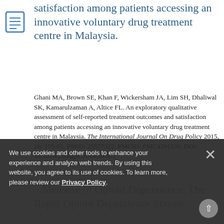satisfaction among patients accessing an innovative voluntary drug treatment centre in Malaysia.
Ghani MA, Brown SE, Khan F, Wickersham JA, Lim SH, Dhaliwal SK, Kamarulzaman A, Altice FL. An exploratory qualitative assessment of self-reported treatment outcomes and satisfaction among patients accessing an innovative voluntary drug treatment centre in Malaysia. The International Journal On Drug Policy 2015, 26: 175-82. PMID: 25577322, PMCID: PMC4291539, DOI: 10.1016/j.drugpo.2014.10.002
...Measure of Opioid Dependence: The Rapid Opioid Dependence Screen
We use cookies and other tools to enhance your experience and analyze web trends. By using this website, you agree to its use of cookies. To learn more, please review our Privacy Policy.